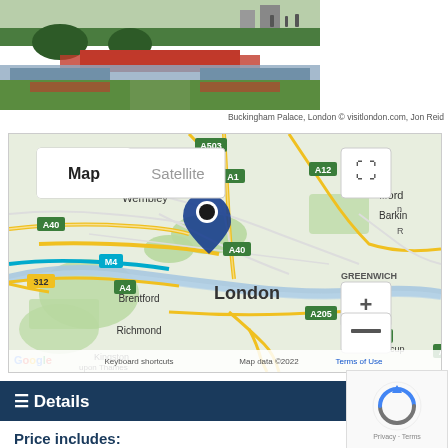[Figure (photo): Photo of flower gardens at Buckingham Palace, London, showing red and blue flower beds with green lawn and people in background]
Buckingham Palace, London © visitlondon.com, Jon Reid
[Figure (map): Google Map showing London city center with a blue location pin dropped on central London. Map shows surrounding areas including Wembley, Brentford, Richmond, Ilford, Barking, Greenwich, and road labels A1, A4, A12, A23, A40, A205, A214, A503, M4. Controls include Map/Satellite toggle, zoom in/out, and fullscreen buttons. Bottom shows Google logo, Keyboard shortcuts, Map data ©2022, Terms of Use.]
≡ Details
Price includes: